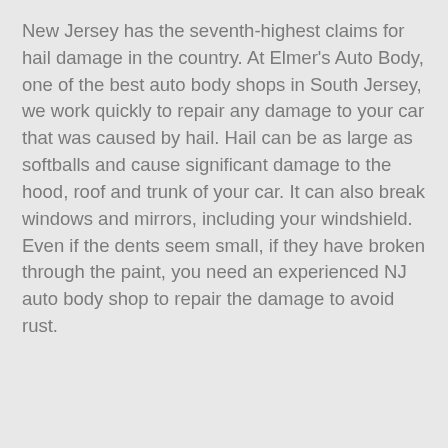New Jersey has the seventh-highest claims for hail damage in the country. At Elmer's Auto Body, one of the best auto body shops in South Jersey, we work quickly to repair any damage to your car that was caused by hail. Hail can be as large as softballs and cause significant damage to the hood, roof and trunk of your car. It can also break windows and mirrors, including your windshield. Even if the dents seem small, if they have broken through the paint, you need an experienced NJ auto body shop to repair the damage to avoid rust.